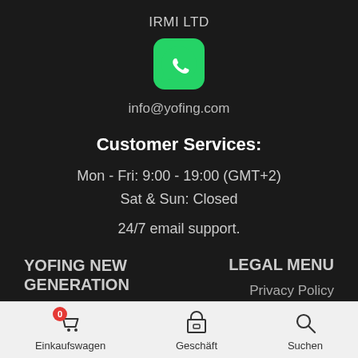IRMI LTD
[Figure (logo): WhatsApp green icon with white phone handset logo]
info@yofing.com
Customer Services:
Mon - Fri: 9:00 - 19:00 (GMT+2)
Sat & Sun: Closed
24/7 email support.
YOFING NEW GENERATION
LEGAL MENU
Privacy Policy
Einkaufswagen  Geschäft  Suchen